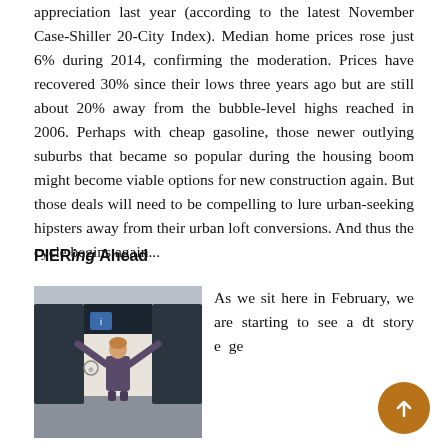appreciation last year (according to the latest November Case-Shiller 20-City Index). Median home prices rose just 6% during 2014, confirming the moderation. Prices have recovered 30% since their lows three years ago but are still about 20% away from the bubble-level highs reached in 2006. Perhaps with cheap gasoline, those newer outlying suburbs that became so popular during the housing boom might become viable options for new construction again. But those deals will need to be compelling to lure urban-seeking hipsters away from their urban loft conversions. And thus the cycle begins again...
PIERing Ahead
[Figure (photo): Person standing inside a car frame with doors open, arms raised, in an indoor automotive display setting]
As we sit here in February, we are starting to see a distinct story emerge